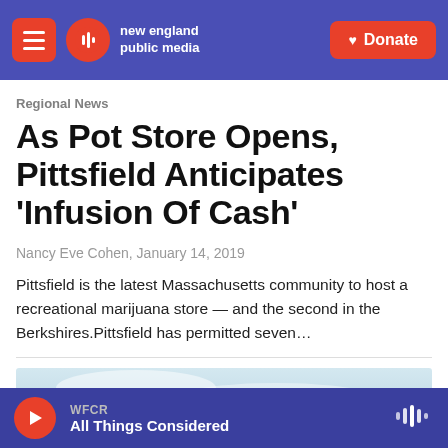new england public media
Regional News
As Pot Store Opens, Pittsfield Anticipates 'Infusion Of Cash'
Nancy Eve Cohen,  January 14, 2019
Pittsfield is the latest Massachusetts community to host a recreational marijuana store — and the second in the Berkshires.Pittsfield has permitted seven…
[Figure (photo): Partial sky/cloud photo below article preview]
WFCR All Things Considered